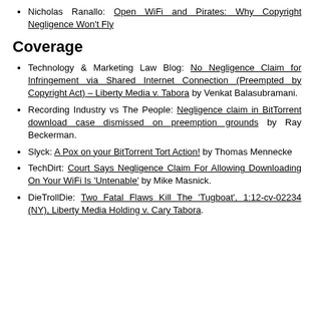Nicholas Ranallo: Open WiFi and Pirates: Why Copyright Negligence Won't Fly
Coverage
Technology & Marketing Law Blog: No Negligence Claim for Infringement via Shared Internet Connection (Preempted by Copyright Act) – Liberty Media v. Tabora by Venkat Balasubramani.
Recording Industry vs The People: Negligence claim in BitTorrent download case dismissed on preemption grounds by Ray Beckerman.
Slyck: A Pox on your BitTorrent Tort Action! by Thomas Mennecke
TechDirt: Court Says Negligence Claim For Allowing Downloading On Your WiFi Is 'Untenable' by Mike Masnick.
DieTrollDie: Two Fatal Flaws Kill The 'Tugboat', 1:12-cv-02234 (NY), Liberty Media Holding v. Cary Tabora.